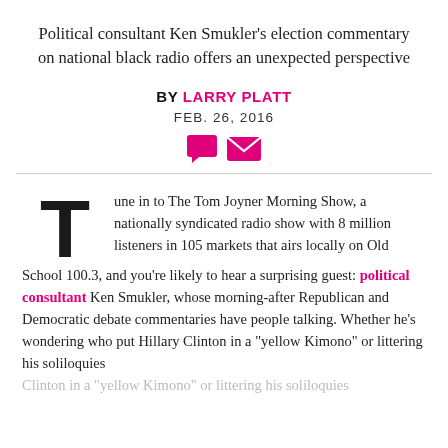Political consultant Ken Smukler's election commentary on national black radio offers an unexpected perspective
BY LARRY PLATT
FEB. 26, 2016
[Figure (illustration): Two small pink icons: a speech bubble (comment) and an envelope (email)]
Tune in to The Tom Joyner Morning Show, a nationally syndicated radio show with 8 million listeners in 105 markets that airs locally on Old School 100.3, and you're likely to hear a surprising guest: political consultant Ken Smukler, whose morning-after Republican and Democratic debate commentaries have people talking. Whether he's wondering who put Hillary Clinton in a "yellow Kimono" or littering his soliloquies